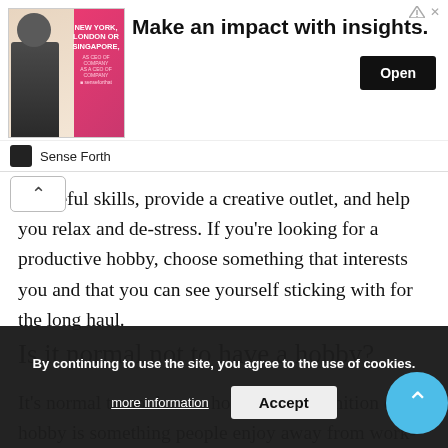[Figure (screenshot): Advertisement banner: image of a man in suit with 'NEW YORK, LONDON OR SINGAPORE,' text overlay on left, bold headline 'Make an impact with insights.' in center, black 'Open' button on right. Sense Forth branding at bottom of banner.]
...useful skills, provide a creative outlet, and help you relax and de-stress. If you're looking for a productive hobby, choose something that interests you and that you can see yourself sticking with for the long haul.
Is it normal not to have a hobby?
It's normal to not have a hobby. The definition of a hobby is something people enjoy away from work-life, which allows for rest and recreation. People have different opinions on what a hobby actually is. For some, a hobby is something they are passionate about and willing to put in the extra time to get better at